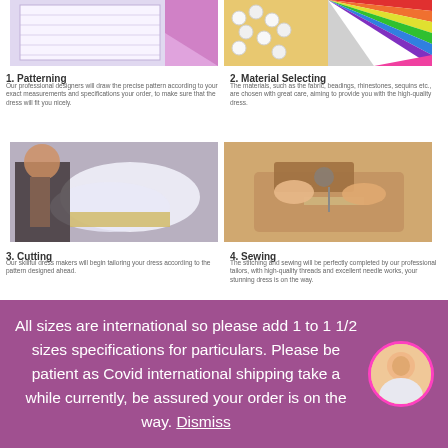[Figure (photo): Patterning - fabric pattern drawing on light purple background]
[Figure (photo): Material Selecting - pearls and colorful fabric swatches]
1. Patterning
Our professional designers will draw the precise pattern according to your exact measurements and specifications your order, to make sure that the dress will fit you nicely.
2. Material Selecting
The materials, such as the fabric, beadings, rhinestones, sequins etc., are chosen with great care, aiming to provide you with the high-quality dress.
[Figure (photo): Cutting - dressmaker cutting white fabric]
[Figure (photo): Sewing - close up of sewing machine stitching fabric]
3. Cutting
Our skillful dress makers will begin tailoring your dress according to the pattern designed ahead.
4. Sewing
The stitching and sewing will be perfectly completed by our professional tailors, with high-quality threads and excellent needle works, your stunning dress is on the way.
[Figure (photo): Embellishment - adding decorative details to dress]
[Figure (photo): Quality Control - woman checking finished dress]
All sizes are international so please add 1 to 1 1/2 sizes specifications for particulars. Please be patient as Covid international shipping take a while currently, be assured your order is on the way. Dismiss